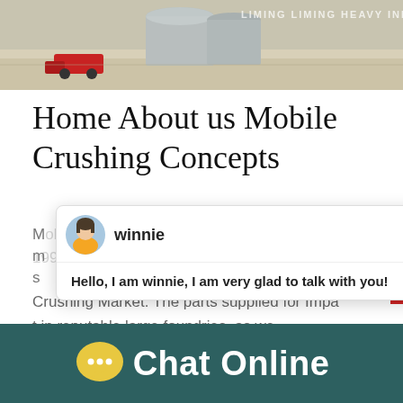[Figure (photo): Industrial crushing plant facility with silos and red machinery, watermark text LIMING LIMING HEAVY INDUSTRY]
Home About us Mobile Crushing Concepts
Mobile Crushing Concepts CC was established in 1998...
Crushing Market. The parts supplied for Impact in reputable large foundries, as we
Capacity
450-500T/H
[Figure (screenshot): Chat popup with avatar of agent named winnie, message: Hello, I am winnie, I am very glad to talk with you!, close button X, notification badge showing 1, Click to chat orange button, Enquiry button]
[Figure (infographic): Bottom dark teal bar with yellow speech bubble chat icon and Chat Online text in white]